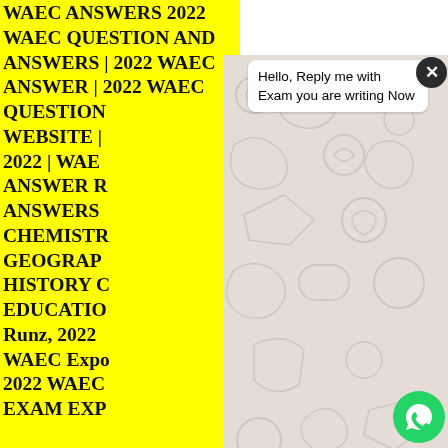WAEC ANSWERS 2022 WAEC QUESTION AND ANSWERS | 2022 WAEC ANSWER | 2022 WAEC QUESTION WEBSITE | 2022 | WAEC ANSWER RUNZ ANSWERS CHEMISTRY GEOGRAPHY HISTORY CIVIC EDUCATION Runz, 2022 WAEC Expo, 2022 WAEC EXAM EXPO EXAM EXP
[Figure (screenshot): WhatsApp chat popup overlay showing a message bubble: 'Hello, Reply me with Exam you are writing Now', with a close (X) button, green send button, and a text input field. WhatsApp doodle background visible.]
0 Responses
Leave a Reply
Name (requ
Email (required, but never shared)
Web